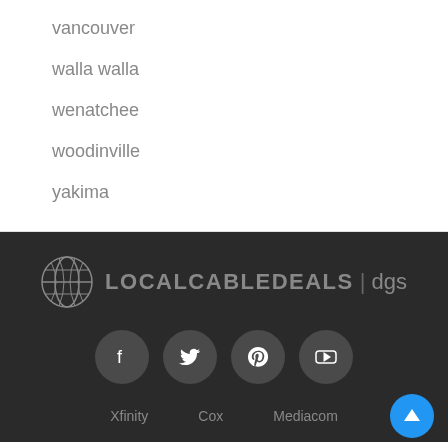vancouver
walla walla
wenatchee
woodinville
yakima
[Figure (logo): LocalCableDeals dgs logo with globe icon]
[Figure (infographic): Social media icons: Facebook, Twitter, Pinterest, YouTube]
Xfinity   Cox   Mediacom